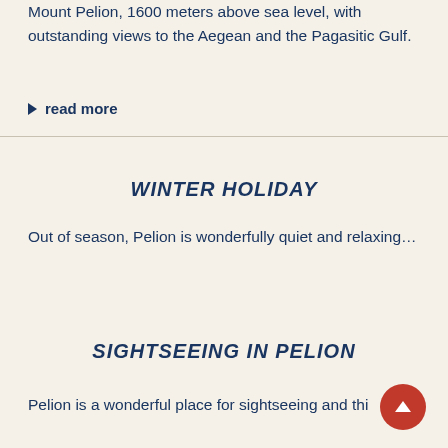Mount Pelion, 1600 meters above sea level, with outstanding views to the Aegean and the Pagasitic Gulf.
read more
WINTER HOLIDAY
Out of season, Pelion is wonderfully quiet and relaxing…
SIGHTSEEING IN PELION
Pelion is wonderfully famous for sightseeing and things…